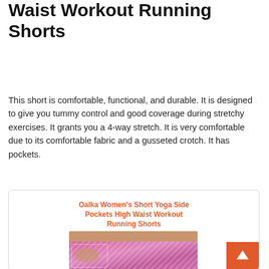Waist Workout Running Shorts
This short is comfortable, functional, and durable. It is designed to give you tummy control and good coverage during stretchy exercises. It grants you a 4-way stretch. It is very comfortable due to its comfortable fabric and a gusseted crotch. It has pockets.
[Figure (other): Product card showing 'Oalka Women's Short Yoga Side Pockets High Waist Workout Running Shorts' with an image of pink/magenta workout shorts worn by a person, and an orange back-to-top button in the bottom right corner.]